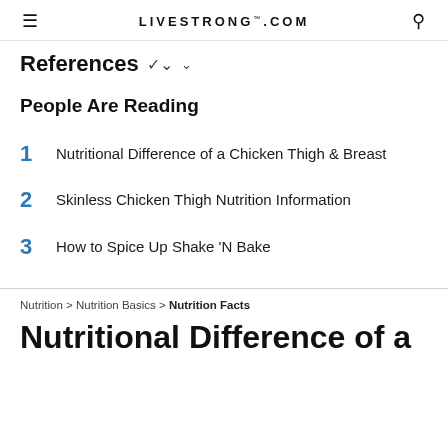LIVESTRONG.COM
References
People Are Reading
1 Nutritional Difference of a Chicken Thigh & Breast
2 Skinless Chicken Thigh Nutrition Information
3 How to Spice Up Shake 'N Bake
Nutrition > Nutrition Basics > Nutrition Facts
Nutritional Difference of a